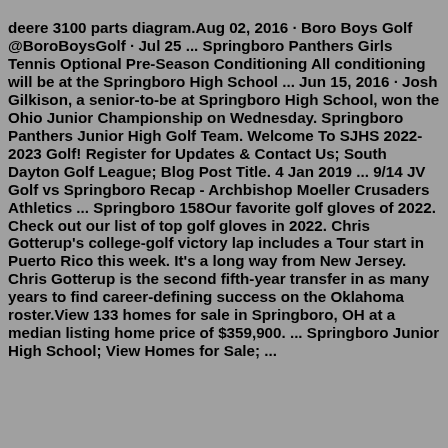deere 3100 parts diagram.Aug 02, 2016 · Boro Boys Golf @BoroBoysGolf · Jul 25 ... Springboro Panthers Girls Tennis Optional Pre-Season Conditioning All conditioning will be at the Springboro High School ... Jun 15, 2016 · Josh Gilkison, a senior-to-be at Springboro High School, won the Ohio Junior Championship on Wednesday. Springboro Panthers Junior High Golf Team. Welcome To SJHS 2022-2023 Golf! Register for Updates & Contact Us; South Dayton Golf League; Blog Post Title. 4 Jan 2019 ... 9/14 JV Golf vs Springboro Recap - Archbishop Moeller Crusaders Athletics ... Springboro 158Our favorite golf gloves of 2022. Check out our list of top golf gloves in 2022. Chris Gotterup's college-golf victory lap includes a Tour start in Puerto Rico this week. It's a long way from New Jersey. Chris Gotterup is the second fifth-year transfer in as many years to find career-defining success on the Oklahoma roster.View 133 homes for sale in Springboro, OH at a median listing home price of $359,900. ... Springboro Junior High School; View Homes for Sale; ...